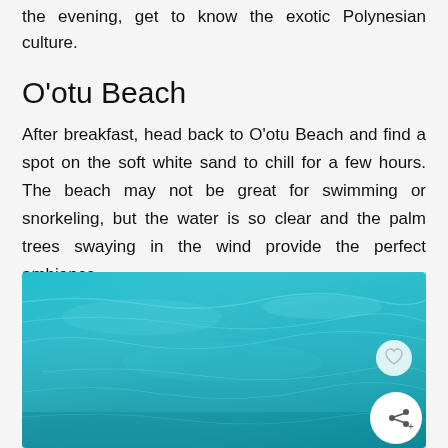the evening, get to know the exotic Polynesian culture.
O'otu Beach
After breakfast, head back to O'otu Beach and find a spot on the soft white sand to chill for a few hours. The beach may not be great for swimming or snorkeling, but the water is so clear and the palm trees swaying in the wind provide the perfect ambiance.
[Figure (photo): Turquoise clear tropical water viewed from above or underwater angle, bright teal and aqua colors with light ripple patterns]